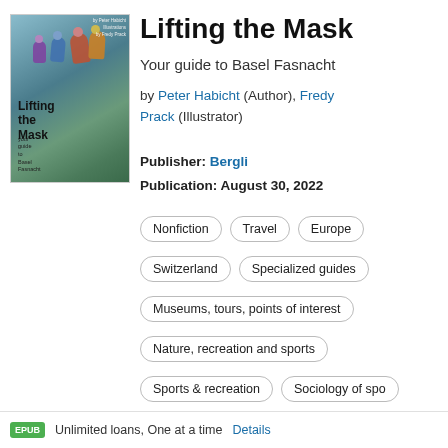[Figure (illustration): Book cover of 'Lifting the Mask – Your guide to Basel Fasnacht' showing colorful carnival figures, with title text and subtitle on the cover]
Lifting the Mask
Your guide to Basel Fasnacht
by Peter Habicht (Author), Fredy Prack (Illustrator)
Publisher: Bergli
Publication: August 30, 2022
Nonfiction
Travel
Europe
Switzerland
Specialized guides
Museums, tours, points of interest
Nature, recreation and sports
Sports & recreation
Sociology of spo
EPUB  Unlimited loans, One at a time  Details